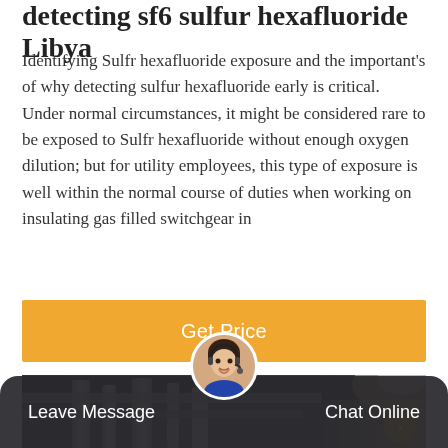detecting sf6 sulfur hexafluoride Libya
Identifying Sulfr hexafluoride exposure and the important's of why detecting sulfur hexafluoride early is critical. Under normal circumstances, it might be considered rare to be exposed to Sulfr hexafluoride without enough oxygen dilution; but for utility employees, this type of exposure is well within the normal course of duties when working on insulating gas filled switchgear in
[Figure (other): Orange 'Get Price' call-to-action button]
[Figure (photo): Industrial facility with pipes and metal structures, dark interior with bright light coming from upper right]
[Figure (other): Bottom chat bar with 'Leave Message' on left, customer service avatar in center, 'Chat Online' on right, dark background]